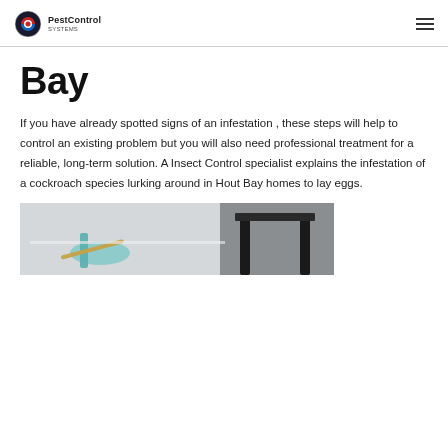PestControl
Bay
If you have already spotted signs of an infestation , these steps will help to control an existing problem but you will also need professional treatment for a reliable, long-term solution. A Insect Control specialist explains the infestation of a cockroach species lurking around in Hout Bay homes to lay eggs.
[Figure (photo): A person wearing blue rubber gloves using a tool to treat or inspect an area near furniture, likely pest control treatment being applied.]